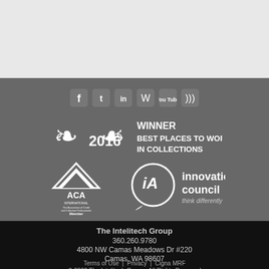[Figure (logo): Social media icons row: Facebook, Twitter, LinkedIn, WordPress, YouTube, RSS]
[Figure (logo): 2016 Winner Best Places to Work in Collections award badge with laurel wreath]
[Figure (logo): ACA International Member logo and iA Innovation Council think differently logo]
The Intelitech Group
360.260.9780
4800 NW Camas Meadows Dr #220
Camas, WA 98607
Terms of Use  |  Privacy  |  Cigna MRF
© 2022 The Intelitech Group - All Rights Reserved